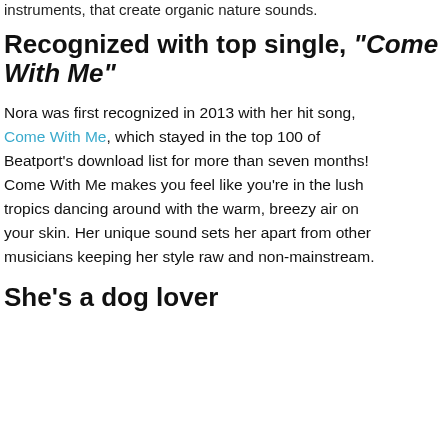instruments, that create organic nature sounds.
Recognized with top single, “Come With Me”
Nora was first recognized in 2013 with her hit song, Come With Me, which stayed in the top 100 of Beatport’s download list for more than seven months! Come With Me makes you feel like you’re in the lush tropics dancing around with the warm, breezy air on your skin. Her unique sound sets her apart from other musicians keeping her style raw and non-mainstream.
She’s a dog lover